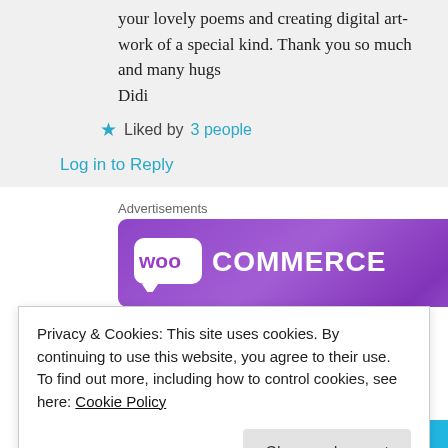your lovely poems and creating digital artwork of a special kind. Thank you so much and many hugs
Didi
★ Liked by 3 people
Log in to Reply
Advertisements
[Figure (logo): WooCommerce logo on purple banner background]
Privacy & Cookies: This site uses cookies. By continuing to use this website, you agree to their use.
To find out more, including how to control cookies, see here: Cookie Policy
Close and accept